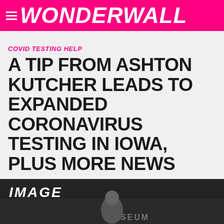WONDERWALL
COVID TESTING HELP
A TIP FROM ASHTON KUTCHER LEADS TO EXPANDED CORONAVIRUS TESTING IN IOWA, PLUS MORE NEWS
By Wonderwall.com Editors
2:31pm PDT, Apr 24, 2020
[Figure (photo): Partial photo at bottom of page showing text IMAGE and partial view of a person, with MUSEUM text visible in background]